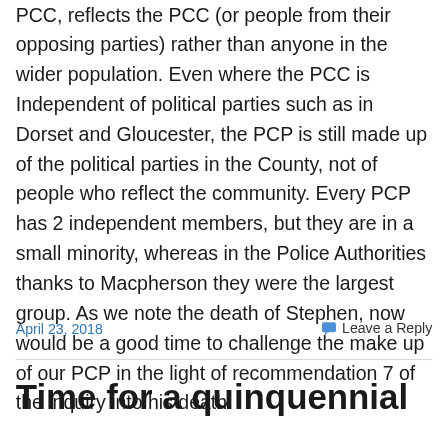PCC, reflects the PCC (or people from their opposing parties) rather than anyone in the wider population. Even where the PCC is Independent of political parties such as in Dorset and Gloucester, the PCP is still made up of the political parties in the County, not of people who reflect the community. Every PCP has 2 independent members, but they are in a small minority, whereas in the Police Authorities thanks to Macpherson they were the largest group. As we note the death of Stephen, now would be a good time to challenge the make up of our PCP in the light of recommendation 7 of the inquiry into his death!
April 23, 2018
Leave a Reply
Time for a quinquennial